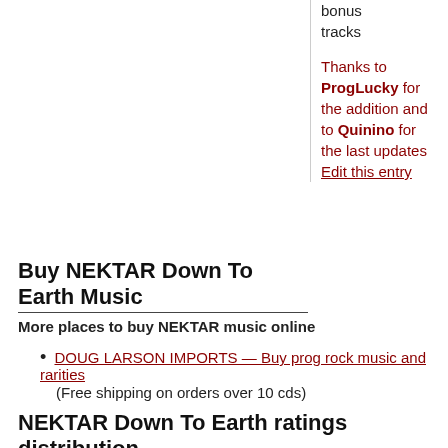bonus tracks
Thanks to ProgLucky for the addition and to Quinino for the last updates
Edit this entry
Buy NEKTAR Down To Earth Music
More places to buy NEKTAR music online
DOUG LARSON IMPORTS — Buy prog rock music and rarities (Free shipping on orders over 10 cds)
NEKTAR Down To Earth ratings distribution